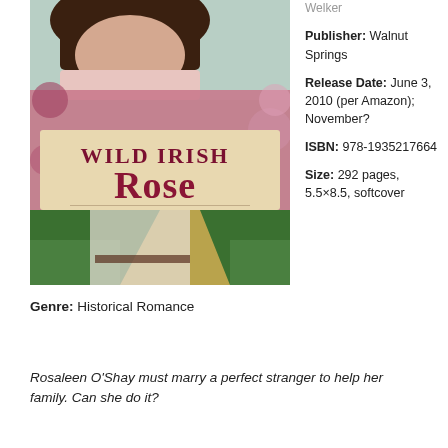[Figure (illustration): Book cover for 'Wild Irish Rose: A Historical Novel' showing a woman in historical dress with a floral background and a winding path through green fields.]
Welker

Publisher: Walnut Springs

Release Date: June 3, 2010 (per Amazon); November?

ISBN: 978-1935217664

Size: 292 pages, 5.5×8.5, softcover
Genre: Historical Romance
Rosaleen O'Shay must marry a perfect stranger to help her family. Can she do it?